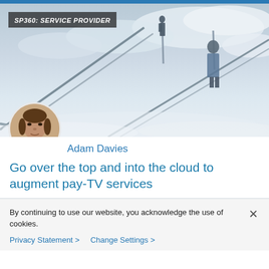SP360: SERVICE PROVIDER
[Figure (photo): Hero image of escalators going up into clouds with two silhouetted figures, moody blue-grey sky, with an SP360: SERVICE PROVIDER badge overlay in the top-left corner. Also includes a circular author headshot of Adam Davies overlaid at the bottom-left of the image area.]
Adam Davies
Go over the top and into the cloud to augment pay-TV services
By continuing to use our website, you acknowledge the use of cookies.
Privacy Statement >   Change Settings >